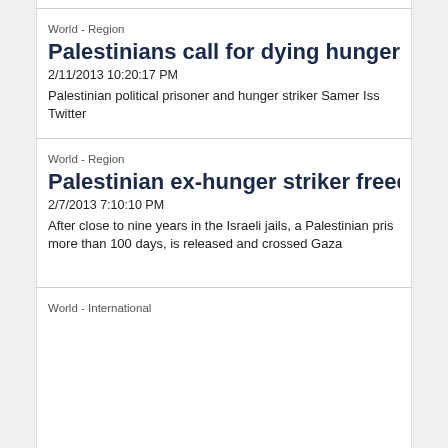World - Region
Palestinians call for dying hunger striker's
2/11/2013 10:20:17 PM
Palestinian political prisoner and hunger striker Samer Iss... Twitter
World - Region
Palestinian ex-hunger striker freed from Is
2/7/2013 7:10:10 PM
After close to nine years in the Israeli jails, a Palestinian pris... more than 100 days, is released and crossed Gaza
World - International